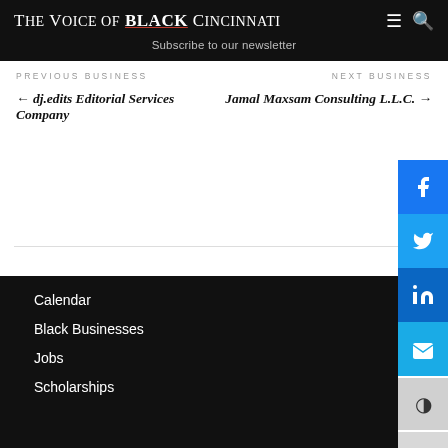The Voice of BLACK Cincinnati — Subscribe to our newsletter
PREVIOUS BUSINESS
NEXT BUSINESS
← dj.edits Editorial Services Company
Jamal Maxsam Consulting L.L.C. →
Calendar
Black Businesses
Jobs
Scholarships